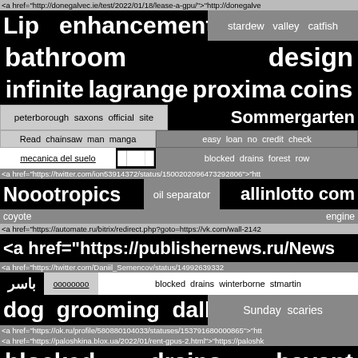<a href="http://donegalvec.ie/test/2022/01/18/lease-a-gpu/">"http://donegalve
Lip enhancement   stardew   valley   catfish
bathroom                                   design
infinite   lagrange   proxima   coins
peterborough   saxons   official   site   Sommergarten
Read   chainsaw   man   manga   easy loan no credit check
mecanica del suelo   ████   blocked drains forest row
<a href="https://twitter.com/ion53914372/status/1500202096473292806">"htt
Noootropics   oil separator   allinlotto com
coyote                                                   engine
<a href="https://automate.ru/bitrix/redirect.php?goto=https://vk.com/wall-2142
<a href="https://publishernews.ru/News
<a href="https://twitter.com/Daniil_Semencov/status/14992639332
باسر   ооооооооо   blocked   drains   winterborne   stmartin
dog   grooming   dallas   Sunday   scaries
<a href="https://ok.ru/profile/580880104033/statuses/153791680000865">"htt
<a href="https://paloshkina.blox.ua/2022/01/rent-gpus-2.html">"https://paloshk
blocked          drains          havant
<a href="http://k.at.elyn.m.ckay1.939.xx3.kz/go.php?url=https://twitter.com/P
hinge   do   cbd   gummies   work